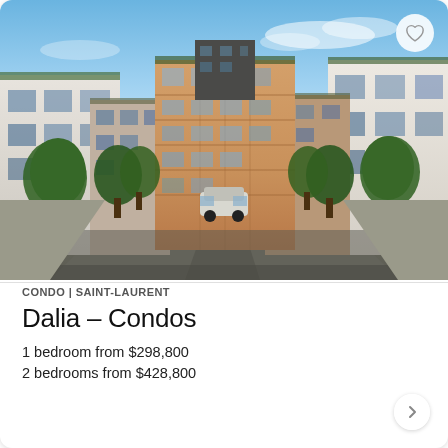[Figure (photo): Architectural rendering of Dalia – Condos development in Saint-Laurent. A wide courtyard-style street view showing modern white and brick mid-rise condo buildings on both sides converging toward a larger 6-storey orange-brick building in the background. Green trees line the pathway, a car is parked in the middle distance, and a blue sky with light clouds fills the upper portion.]
CONDO | SAINT-LAURENT
Dalia – Condos
1 bedroom from $298,800
2 bedrooms from $428,800